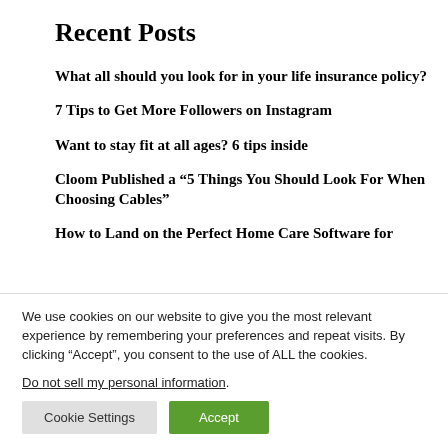Recent Posts
What all should you look for in your life insurance policy?
7 Tips to Get More Followers on Instagram
Want to stay fit at all ages? 6 tips inside
Cloom Published a “5 Things You Should Look For When Choosing Cables”
How to Land on the Perfect Home Care Software for
We use cookies on our website to give you the most relevant experience by remembering your preferences and repeat visits. By clicking “Accept”, you consent to the use of ALL the cookies.
Do not sell my personal information.